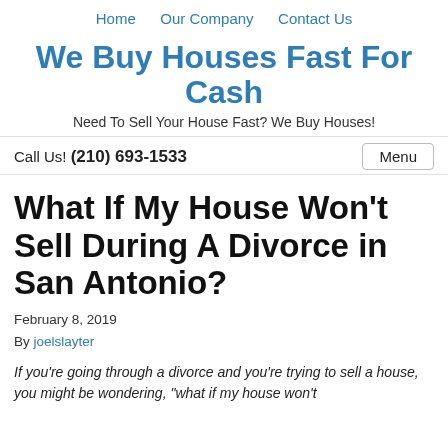Home   Our Company   Contact Us
We Buy Houses Fast For Cash
Need To Sell Your House Fast? We Buy Houses!
Call Us! (210) 693-1533   Menu
What If My House Won't Sell During A Divorce in San Antonio?
February 8, 2019
By joelslayter
If you're going through a divorce and you're trying to sell a house, you might be wondering, "what if my house won't